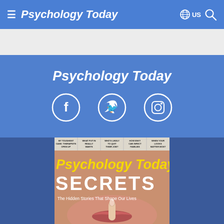Psychology Today
Psychology Today
[Figure (logo): Facebook social media icon circle]
[Figure (logo): Twitter social media icon circle]
[Figure (logo): Instagram social media icon circle]
[Figure (photo): Psychology Today magazine cover showing the word SECRETS in large white letters, with yellow Psychology Today masthead, and the subtitle 'The Hidden Stories That Shape Our Lives'. Cover features a close-up of a woman's face with finger to lips. Top banner shows article teasers: MY TOUGHEST CASE: THERAPISTS OPEN UP, WHAT PUTIN REALLY WANTS, WHO'S LIKELY TO QUIT THEIR JOB?, HOW ENVY CAN INFECT FAMILIES, WHEN YOUR LOOKS MATTER MOST.]